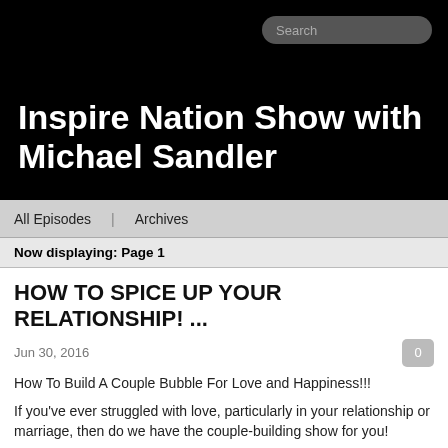Inspire Nation Show with Michael Sandler
All Episodes   Archives
Now displaying: Page 1
HOW TO SPICE UP YOUR RELATIONSHIP! ...
Jun 30, 2016
How To Build A Couple Bubble For Love and Happiness!!!
If you've ever struggled with love, particularly in your relationship or marriage, then do we have the couple-building show for you!
Today I'll be talking with Stan Tatkin, clinican, researcher, teacher, and developer of the psychobiological approach to couple therapy. He's also the author of four books including his latest, my new favorite couples book, Wired For Love.